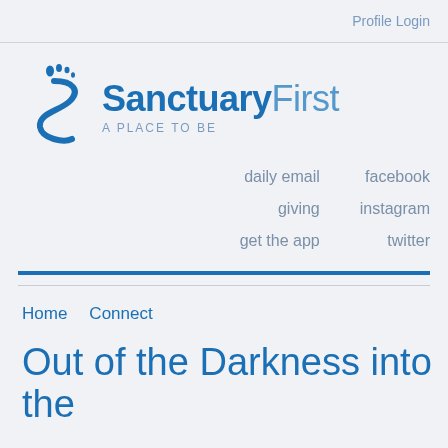Profile Login
[Figure (logo): SanctuaryFirst logo — blue S-shape with footprint dots, bold blue 'Sanctuary', light blue 'First', tagline 'A PLACE TO BE']
daily email
giving
get the app
facebook
instagram
twitter
Home    Connect
Out of the Darkness into the